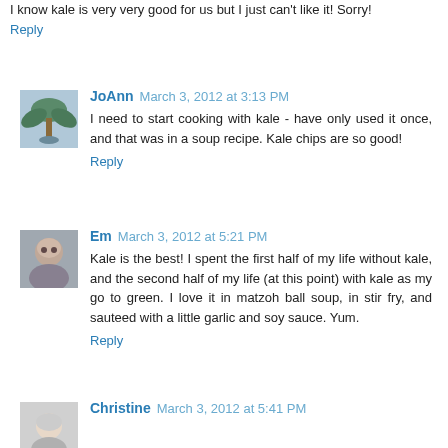I know kale is very very good for us but I just can't like it! Sorry!
Reply
JoAnn  March 3, 2012 at 3:13 PM
I need to start cooking with kale - have only used it once, and that was in a soup recipe. Kale chips are so good!
Reply
Em  March 3, 2012 at 5:21 PM
Kale is the best! I spent the first half of my life without kale, and the second half of my life (at this point) with kale as my go to green. I love it in matzoh ball soup, in stir fry, and sauteed with a little garlic and soy sauce. Yum.
Reply
Christine  March 3, 2012 at 5:41 PM